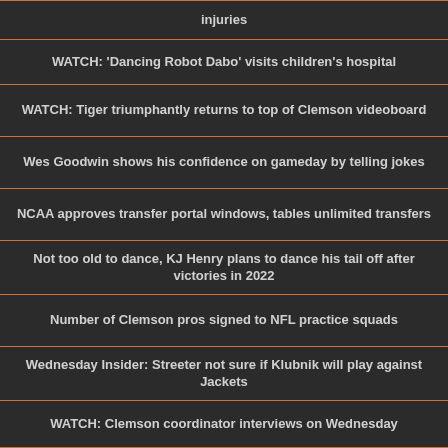injuries
WATCH: 'Dancing Robot Dabo' visits children's hospital
WATCH: Tiger triumphantly returns to top of Clemson videoboard
Wes Goodwin shows his confidence on gameday by telling jokes
NCAA approves transfer portal windows, tables unlimited transfers
Not too old to dance, KJ Henry plans to dance his tail off after victories in 2022
Number of Clemson pros signed to NFL practice squads
Wednesday Insider: Streeter not sure if Klubnik will play against Jackets
WATCH: Clemson coordinator interviews on Wednesday